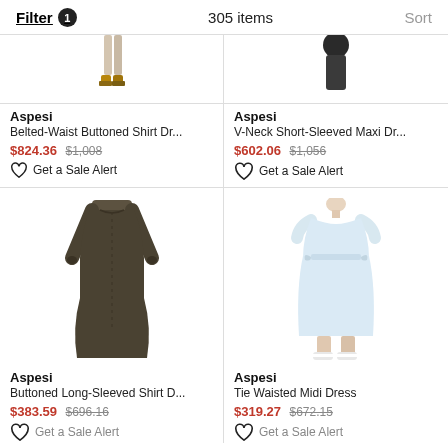Filter 1   305 items   Sort
[Figure (photo): Aspesi Belted-Waist Buttoned Shirt Dress product image (partial, top cropped)]
Aspesi
Belted-Waist Buttoned Shirt Dr...
$824.36 $1,008
Get a Sale Alert
[Figure (photo): Aspesi V-Neck Short-Sleeved Maxi Dress product image (partial, top cropped)]
Aspesi
V-Neck Short-Sleeved Maxi Dr...
$602.06 $1,056
Get a Sale Alert
[Figure (photo): Aspesi Buttoned Long-Sleeved Shirt Dress - dark olive/brown long dress on model]
Aspesi
Buttoned Long-Sleeved Shirt D...
$383.59 $696.16
Get a Sale Alert
[Figure (photo): Aspesi Tie Waisted Midi Dress - white/light blue midi dress on model]
Aspesi
Tie Waisted Midi Dress
$319.27 $672.15
Get a Sale Alert